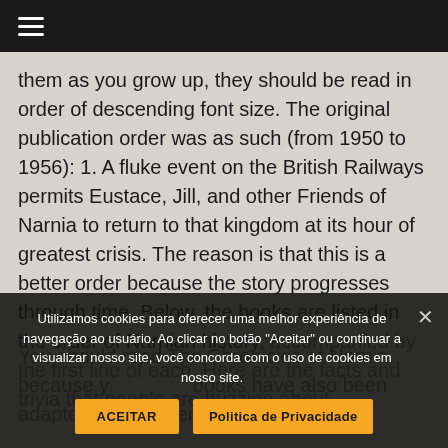☰
them as you grow up, they should be read in order of descending font size. The original publication order was as such (from 1950 to 1956): 1. A fluke event on the British Railways permits Eustace, Jill, and other Friends of Narnia to return to that kingdom at its hour of greatest crisis. The reason is that this is a better order because the story progresses through time. Below, the books are listed in the order of Narnian history, accompanied by the first line of each. Here are the facts and trivia that people are buzzing about. You should read The Chronicles of Narnia because y... books have also been adapted many different times for
Utilizamos cookies para oferecer uma melhor experiência de navegação ao usuário. Ao clicar no botão "Aceitar" ou continuar a visualizar nosso site, você concorda com o uso de cookies em nosso site.